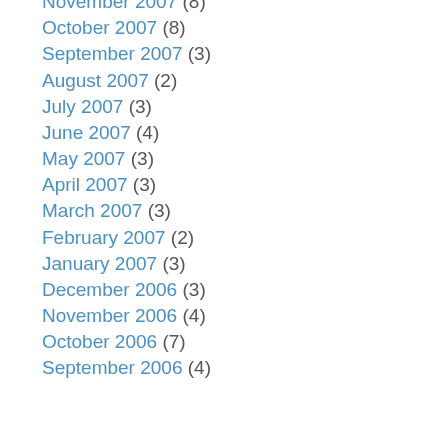November 2007 (8)
October 2007 (8)
September 2007 (3)
August 2007 (2)
July 2007 (3)
June 2007 (4)
May 2007 (3)
April 2007 (3)
March 2007 (3)
February 2007 (2)
January 2007 (3)
December 2006 (3)
November 2006 (4)
October 2006 (7)
September 2006 (4)